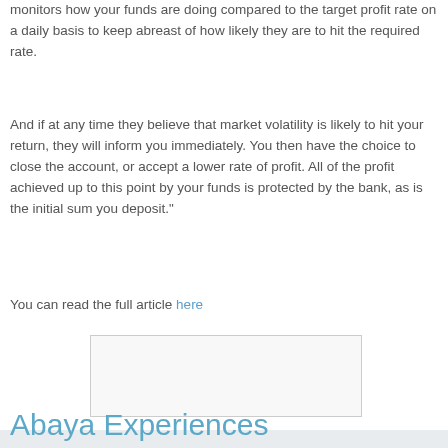monitors how your funds are doing compared to the target profit rate on a daily basis to keep abreast of how likely they are to hit the required rate.
And if at any time they believe that market volatility is likely to hit your return, they will inform you immediately. You then have the choice to close the account, or accept a lower rate of profit. All of the profit achieved up to this point by your funds is protected by the bank, as is the initial sum you deposit."
You can read the full article here
[Figure (other): Empty light gray box, likely an image placeholder]
Happy Muslim Mama at 12:43    No comments:
Abaya Experiences